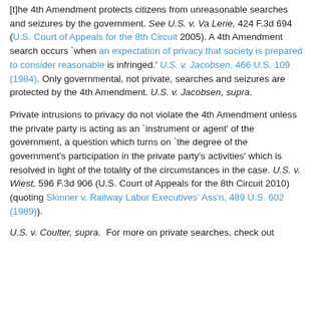[t]he 4th Amendment protects citizens from unreasonable searches and seizures by the government. See U.S. v. Va Lerie, 424 F.3d 694 (U.S. Court of Appeals for the 8th Circuit 2005). A 4th Amendment search occurs `when an expectation of privacy that society is prepared to consider reasonable is infringed.' U.S. v. Jacobsen, 466 U.S. 109 (1984). Only governmental, not private, searches and seizures are protected by the 4th Amendment. U.S. v. Jacobsen, supra.
Private intrusions to privacy do not violate the 4th Amendment unless the private party is acting as an `instrument or agent' of the government, a question which turns on `the degree of the government's participation in the private party's activities' which is resolved in light of the totality of the circumstances in the case. U.S. v. Wiest, 596 F.3d 906 (U.S. Court of Appeals for the 8th Circuit 2010) (quoting Skinner v. Railway Labor Executives' Ass'n, 489 U.S. 602 (1989)).
U.S. v. Coulter, supra.  For more on private searches, check out